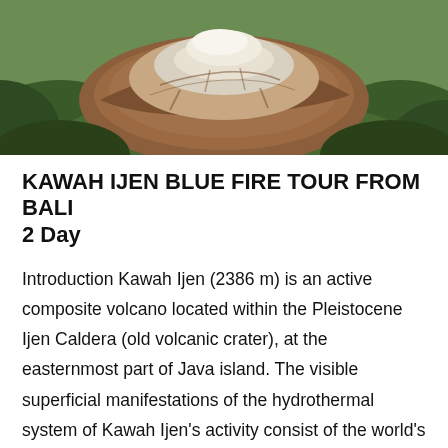[Figure (photo): Aerial view of Kawah Ijen volcanic crater showing the turquoise-white acidic lake at the top center, surrounded by brown/reddish rocky crater rim and green vegetation on the slopes below.]
KAWAH IJEN BLUE FIRE TOUR FROM BALI 2 Day
Introduction Kawah Ijen (2386 m) is an active composite volcano located within the Pleistocene Ijen Caldera (old volcanic crater), at the easternmost part of Java island. The visible superficial manifestations of the hydrothermal system of Kawah Ijen's activity consist of the world's largest hyperacidic lake on Earth, a few thermal discharges and